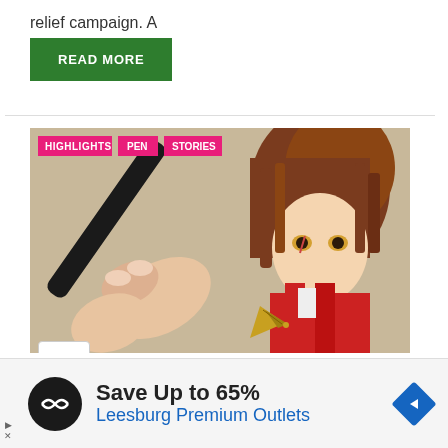relief campaign. A
READ MORE
[Figure (photo): Close-up photo of a hand holding a fountain pen nib, with an anime character (dark-haired, red outfit) visible in the background. Tags: HIGHLIGHTS, PEN, STORIES]
Save Up to 65%
Leesburg Premium Outlets